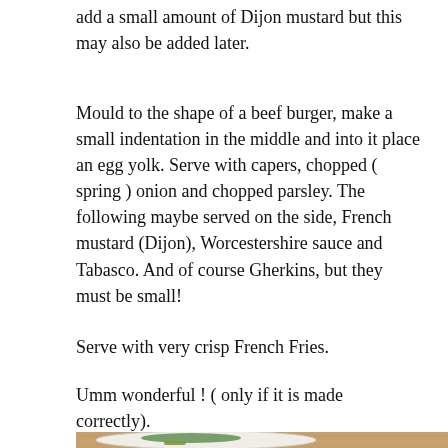add a small amount of Dijon mustard but this may also be added later.
Mould to the shape of a beef burger, make a small indentation in the middle and into it place an egg yolk. Serve with capers, chopped ( spring ) onion and chopped parsley. The following maybe served on the side, French mustard (Dijon), Worcestershire sauce and Tabasco. And of course Gherkins, but they must be small!
Serve with very crisp French Fries.
Umm wonderful ! ( only if it is made correctly).
[Figure (photo): A plate with green herbs/parsley, small gherkins, served on a wooden table surface.]